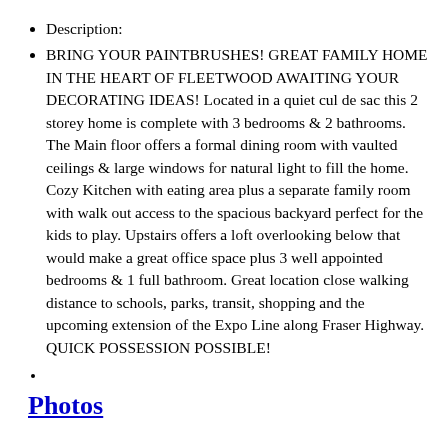Description:
BRING YOUR PAINTBRUSHES! GREAT FAMILY HOME IN THE HEART OF FLEETWOOD AWAITING YOUR DECORATING IDEAS! Located in a quiet cul de sac this 2 storey home is complete with 3 bedrooms & 2 bathrooms. The Main floor offers a formal dining room with vaulted ceilings & large windows for natural light to fill the home. Cozy Kitchen with eating area plus a separate family room with walk out access to the spacious backyard perfect for the kids to play. Upstairs offers a loft overlooking below that would make a great office space plus 3 well appointed bedrooms & 1 full bathroom. Great location close walking distance to schools, parks, transit, shopping and the upcoming extension of the Expo Line along Fraser Highway. QUICK POSSESSION POSSIBLE!
Photos